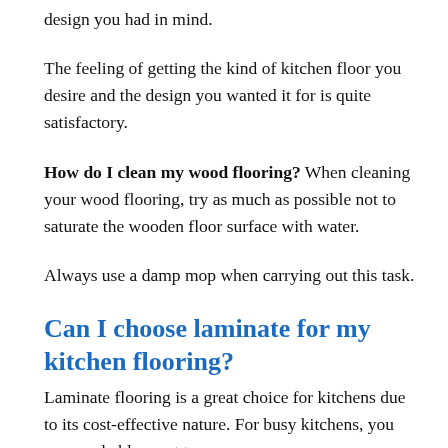design you had in mind.
The feeling of getting the kind of kitchen floor you desire and the design you wanted it for is quite satisfactory.
How do I clean my wood flooring? When cleaning your wood flooring, try as much as possible not to saturate the wooden floor surface with water.
Always use a damp mop when carrying out this task.
Can I choose laminate for my kitchen flooring?
Laminate flooring is a great choice for kitchens due to its cost-effective nature. For busy kitchens, you may probably want to